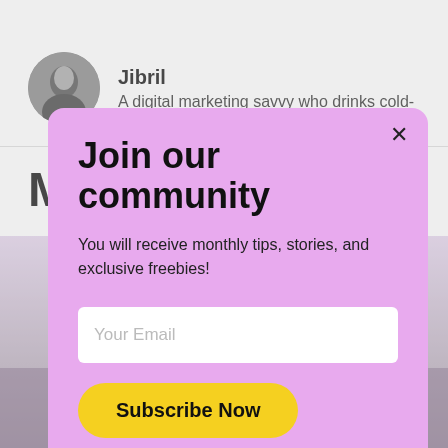[Figure (screenshot): Background page showing author profile with circular avatar photo of a person, name 'Jibril', bio text 'A digital marketing savvy who drinks cold-', a divider line, a large letter 'M', and a blurred image section below]
[Figure (screenshot): Modal popup overlay with lavender/purple background containing: close X button, title 'Join our community', description text, email input field, and Subscribe Now button]
Join our community
You will receive monthly tips, stories, and exclusive freebies!
Your Email
Subscribe Now